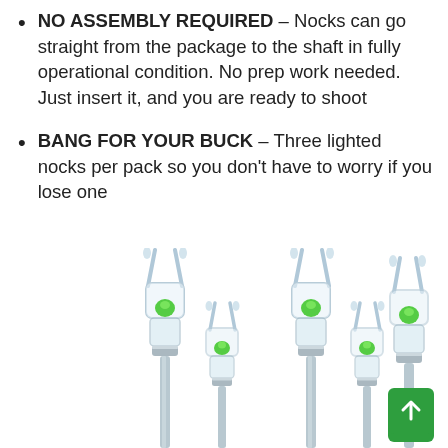NO ASSEMBLY REQUIRED - Nocks can go straight from the package to the shaft in fully operational condition. No prep work needed. Just insert it, and you are ready to shoot
BANG FOR YOUR BUCK - Three lighted nocks per pack so you don't have to worry if you lose one
[Figure (photo): Six lighted arrow nocks with transparent plastic bodies, green LED lights inside, and silver metal shafts, arranged in two rows of three pairs against a white background. A green square button with an upward arrow is visible in the bottom-right corner.]